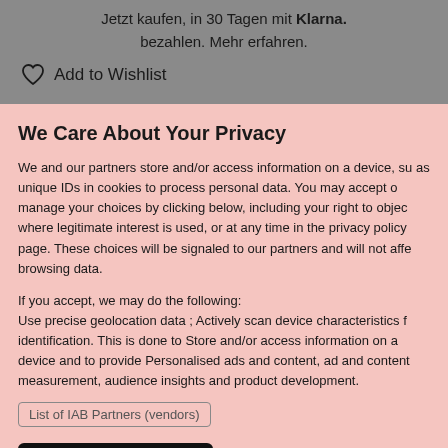Jetzt kaufen, in 30 Tagen mit Klarna. bezahlen. Mehr erfahren.
Add to Wishlist
We Care About Your Privacy
We and our partners store and/or access information on a device, such as unique IDs in cookies to process personal data. You may accept or manage your choices by clicking below, including your right to object where legitimate interest is used, or at any time in the privacy policy page. These choices will be signaled to our partners and will not affect browsing data.
If you accept, we may do the following:
Use precise geolocation data ; Actively scan device characteristics for identification. This is done to Store and/or access information on a device and to provide Personalised ads and content, ad and content measurement, audience insights and product development.
List of IAB Partners (vendors)
I Accept